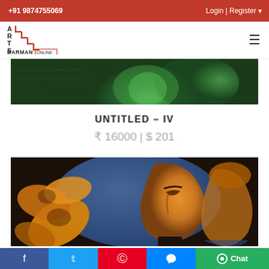+91 9874755069 | Login | Register
[Figure (logo): Arts Barman Online logo with staircase design in red and black]
[Figure (photo): Top portion of painting showing green circular forms on dark background]
UNTITLED - IV
₹ 16000 | $ 201
[Figure (photo): Painting showing a person's profile with orange/golden tones and flower petals on blue background, two figures visible]